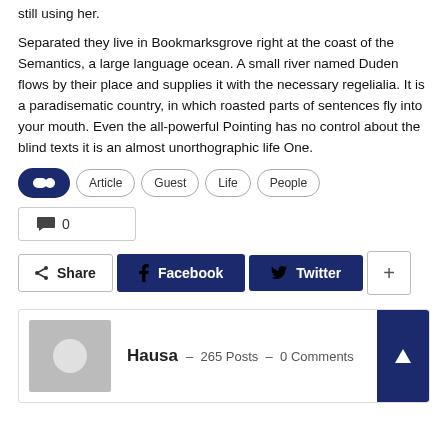still using her.
Separated they live in Bookmarksgrove right at the coast of the Semantics, a large language ocean. A small river named Duden flows by their place and supplies it with the necessary regelialia. It is a paradisematic country, in which roasted parts of sentences fly into your mouth. Even the all-powerful Pointing has no control about the blind texts it is an almost unorthographic life One.
Tags: Article, Guest, Life, People
💬 0
Share  Facebook  Twitter  +
Hausa – 265 Posts – 0 Comments